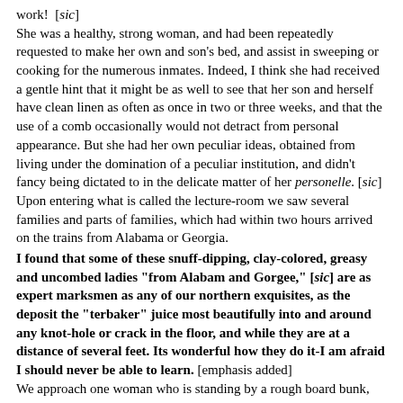work! [sic] She was a healthy, strong woman, and had been repeatedly requested to make her own and son's bed, and assist in sweeping or cooking for the numerous inmates. Indeed, I think she had received a gentle hint that it might be as well to see that her son and herself have clean linen as often as once in two or three weeks, and that the use of a comb occasionally would not detract from personal appearance. But she had her own peculiar ideas, obtained from living under the domination of a peculiar institution, and didn't fancy being dictated to in the delicate matter of her personelle. [sic] Upon entering what is called the lecture-room we saw several families and parts of families, which had within two hours arrived on the trains from Alabama or Georgia.
I found that some of these snuff-dipping, clay-colored, greasy and uncombed ladies "from Alabam and Gorgee," [sic] are as expert marksmen as any of our northern exquisites, as the deposit the "terbaker" juice most beautifully into and around any knot-hole or crack in the floor, and while they are at a distance of several feet. Its wonderful how they do it-I am afraid I should never be able to learn. [emphasis added]
We approach one woman who is standing by a rough board bunk,